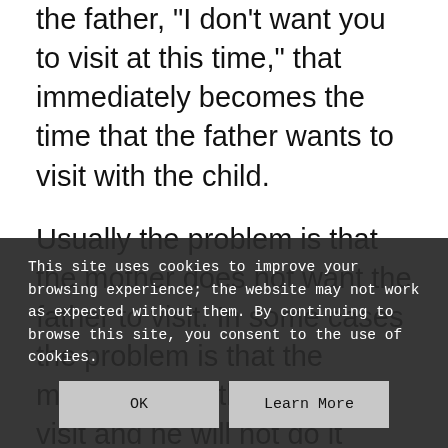the father, "I don't want you to visit at this time," that immediately becomes the time that the father wants to visit with the child.
Usually the problem is that the mother does not want the father to visit. In some cases the problem is that the mother wants the father to visit and he will not do it because she is trying to force him to visit with the children. The best thing to do if you do not want the father to visit is tell him you want him to visit. Bury him with visitation offers, overwhelm him with sitte
Also, you mi father who visits regularly tends to be the father that
This site uses cookies to improve your browsing experience; the website may not work as expected without them. By continuing to browse this site, you consent to the use of cookies.